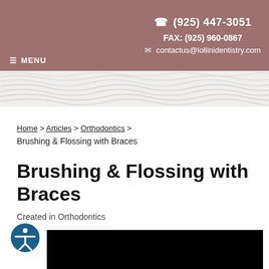☎ (925) 447-3051  FAX: (925) 960-0867  ✉ contactus@lollinidentistry.com  ≡ MENU
[Figure (illustration): Decorative wavy topographic line pattern banner in light gray/white]
Home > Articles > Orthodontics > Brushing & Flossing with Braces
Brushing & Flossing with Braces
Created in Orthodontics
[Figure (photo): Black rectangle placeholder for article image/video]